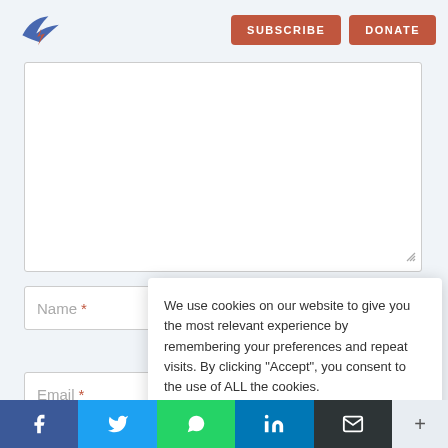[Figure (logo): Blue winged logo icon]
SUBSCRIBE
DONATE
[Figure (screenshot): Empty textarea input field with resize handle]
Name *
We use cookies on our website to give you the most relevant experience by remembering your preferences and repeat visits. By clicking “Accept”, you consent to the use of ALL the cookies.
Cookie settings
ACCEPT
Email *
[Figure (infographic): Social sharing bar with Facebook, Twitter, WhatsApp, LinkedIn, Email icons and a plus button]